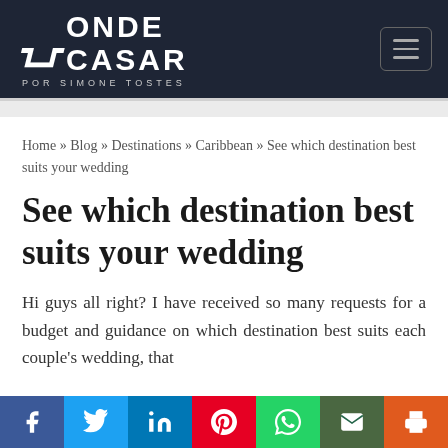[Figure (logo): Onde Casar por Simone Tostes logo on dark navy background with hamburger menu icon]
Home » Blog » Destinations » Caribbean » See which destination best suits your wedding
See which destination best suits your wedding
Hi guys all right? I have received so many requests for a budget and guidance on which destination best suits each couple's wedding, that
[Figure (infographic): Social media sharing bar with Facebook, Twitter, LinkedIn, Pinterest, WhatsApp, Email, and Print buttons]